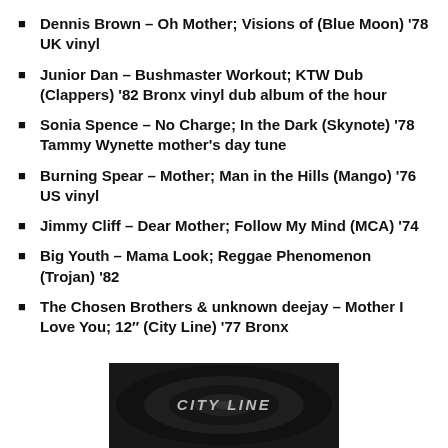Dennis Brown – Oh Mother; Visions of (Blue Moon) '78 UK vinyl
Junior Dan – Bushmaster Workout; KTW Dub (Clappers) '82 Bronx vinyl dub album of the hour
Sonia Spence – No Charge; In the Dark (Skynote) '78 Tammy Wynette mother's day tune
Burning Spear – Mother; Man in the Hills (Mango) '76 US vinyl
Jimmy Cliff – Dear Mother; Follow My Mind (MCA) '74
Big Youth – Mama Look; Reggae Phenomenon (Trojan) '82
The Chosen Brothers & unknown deejay – Mother I Love You; 12" (City Line) '77 Bronx
[Figure (photo): Black and white photo of a vinyl record label reading CITY LINE]